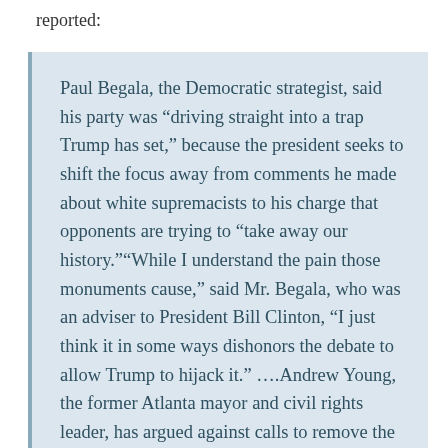reported:
Paul Begala, the Democratic strategist, said his party was “driving straight into a trap Trump has set,” because the president seeks to shift the focus away from comments he made about white supremacists to his charge that opponents are trying to “take away our history.”“While I understand the pain those monuments cause,” said Mr. Begala, who was an adviser to President Bill Clinton, “I just think it in some ways dishonors the debate to allow Trump to hijack it.” ….Andrew Young, the former Atlanta mayor and civil rights leader, has argued against calls to remove the enormous carved tableau of Confederate